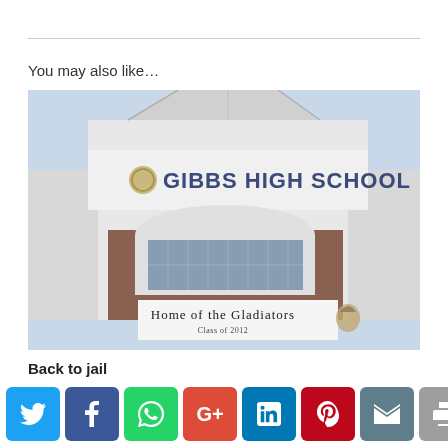You may also like…
[Figure (photo): Exterior of Gibbs High School building showing the school name 'GIBBS HIGH SCHOOL' on the facade with a banner reading 'Home of the Gladiators Class of 2012']
Back to jail